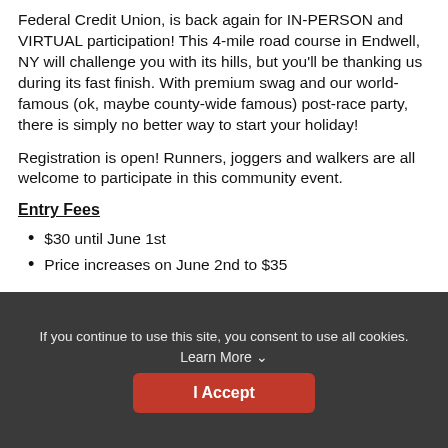Federal Credit Union, is back again for IN-PERSON and VIRTUAL participation! This 4-mile road course in Endwell, NY will challenge you with its hills, but you'll be thanking us during its fast finish. With premium swag and our world-famous (ok, maybe county-wide famous) post-race party, there is simply no better way to start your holiday!
Registration is open! Runners, joggers and walkers are all welcome to participate in this community event.
Entry Fees
$30 until June 1st
Price increases on June 2nd to $35
If you continue to use this site, you consent to use all cookies. Learn More ∨
I Accept